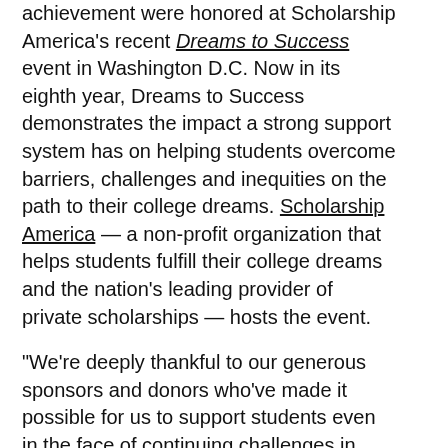achievement were honored at Scholarship America's recent Dreams to Success event in Washington D.C. Now in its eighth year, Dreams to Success demonstrates the impact a strong support system has on helping students overcome barriers, challenges and inequities on the path to their college dreams. Scholarship America — a non-profit organization that helps students fulfill their college dreams and the nation's leading provider of private scholarships — hosts the event.
"We're deeply thankful to our generous sponsors and donors who've made it possible for us to support students even in the face of continuing challenges in education," said Mike Nylund, president and CEO of Scholarship America. "All of the students we recognized and stories we heard highlighted the difficulties, obstacles, financial need, and setbacks students face in their pursuit of a college education. Everyone who joined us in the room and online